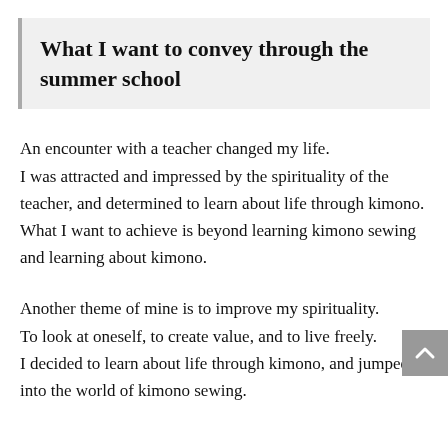What I want to convey through the summer school
An encounter with a teacher changed my life. I was attracted and impressed by the spirituality of the teacher, and determined to learn about life through kimono. What I want to achieve is beyond learning kimono sewing and learning about kimono.
Another theme of mine is to improve my spirituality. To look at oneself, to create value, and to live freely. I decided to learn about life through kimono, and jumped into the world of kimono sewing.